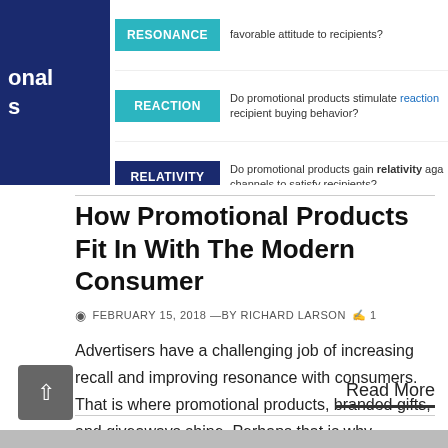[Figure (infographic): Partial view of a promotional products infographic showing a dark blue box on the left with partial text 'onal' and 's', and three rows with colored badges (RESONANCE in cyan, REACTION in cyan, RELATIVITY in dark blue) with descriptive text about promotional products.]
How Promotional Products Fit In With The Modern Consumer
FEBRUARY 15, 2018 —BY RICHARD LARSON  1
Advertisers have a challenging job of increasing recall and improving resonance with consumers. That is where promotional products, branded gifts, and giveaways shine. Perhaps that is why promotional products have...
Read More